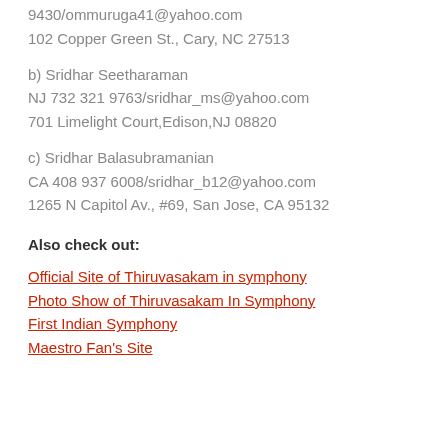9430/ommuruga41@yahoo.com
102 Copper Green St., Cary, NC 27513
b) Sridhar Seetharaman
NJ 732 321 9763/sridhar_ms@yahoo.com
701 Limelight Court,Edison,NJ 08820
c) Sridhar Balasubramanian
CA 408 937 6008/sridhar_b12@yahoo.com
1265 N Capitol Av., #69, San Jose, CA 95132
Also check out:
Official Site of Thiruvasakam in symphony
Photo Show of Thiruvasakam In Symphony
First Indian Symphony
Maestro Fan's Site